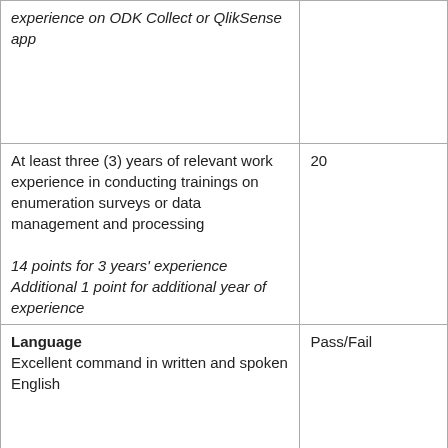| Criteria | Score |
| --- | --- |
| experience on ODK Collect or QlikSense app |  |
| At least three (3) years of relevant work experience in conducting trainings on enumeration surveys or data management and processing

14 points for 3 years' experience Additional 1 point for additional year of experience | 20 |
| Language
Excellent command in written and spoken English | Pass/Fail |